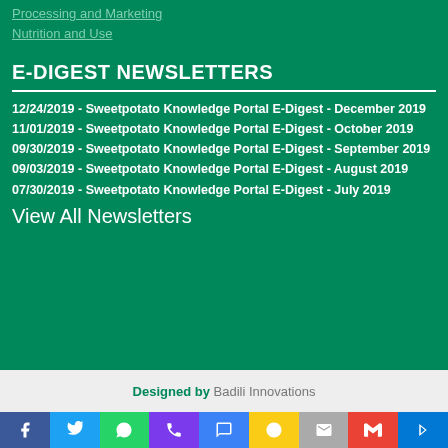Processing and Marketing
Nutrition and Use
E-DIGEST NEWSLETTERS
12/24/2019 - Sweetpotato Knowledge Portal E-Digest - December 2019
11/01/2019 - Sweetpotato Knowledge Portal E-Digest - October 2019
09/30/2019 - Sweetpotato Knowledge Portal E-Digest - September 2019
09/03/2019 - Sweetpotato Knowledge Portal E-Digest - August 2019
07/30/2019 - Sweetpotato Knowledge Portal E-Digest - July 2019
View All Newsletters
Designed by Badili Innovations